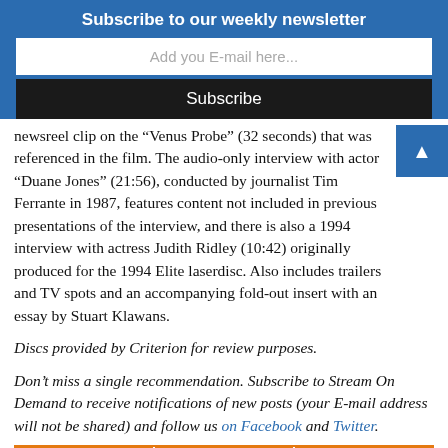Subscribe to our weekly newsletter
Add you E-mail here...
Subscribe
newsreel clip on the “Venus Probe” (32 seconds) that was referenced in the film. The audio-only interview with actor “Duane Jones” (21:56), conducted by journalist Tim Ferrante in 1987, features content not included in previous presentations of the interview, and there is also a 1994 interview with actress Judith Ridley (10:42) originally produced for the 1994 Elite laserdisc. Also includes trailers and TV spots and an accompanying fold-out insert with an essay by Stuart Klawans.
Discs provided by Criterion for review purposes.
Don’t miss a single recommendation. Subscribe to Stream On Demand to receive notifications of new posts (your E-mail address will not be shared) and follow us on Facebook and Twitter.
[Figure (logo): Three Amazon logos in a row with orange border]
[Figure (logo): Amazon logo]
[Figure (logo): Amazon logo]